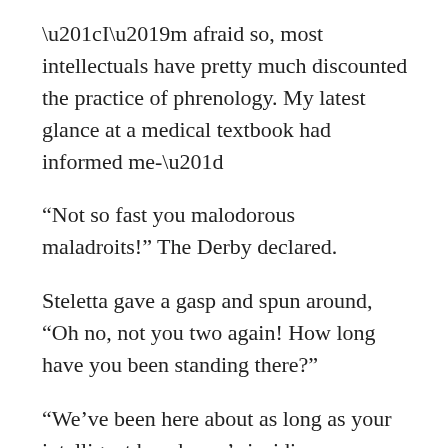“I’m afraid so, most intellectuals have pretty much discounted the practice of phrenology. My latest glance at a medical textbook had informed me-”
“Not so fast you malodorous maladroits!” The Derby declared.
Steletta gave a gasp and spun around, “Oh no, not you two again! How long have you been standing there?”
“We’ve been here about as long as your intelligent henchman’s insidious over-explanation.” The Derby declared “Also, we happened to hear you mention that the bean